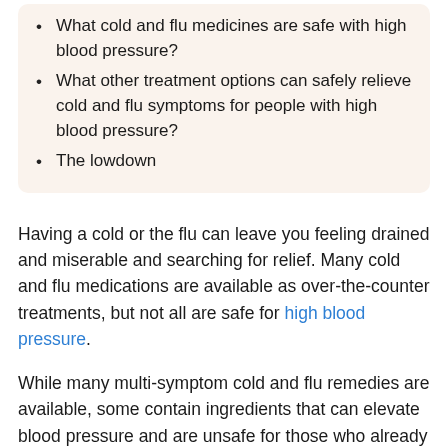What cold and flu medicines are safe with high blood pressure?
What other treatment options can safely relieve cold and flu symptoms for people with high blood pressure?
The lowdown
Having a cold or the flu can leave you feeling drained and miserable and searching for relief. Many cold and flu medications are available as over-the-counter treatments, but not all are safe for high blood pressure.
While many multi-symptom cold and flu remedies are available, some contain ingredients that can elevate blood pressure and are unsafe for those who already have this condition.